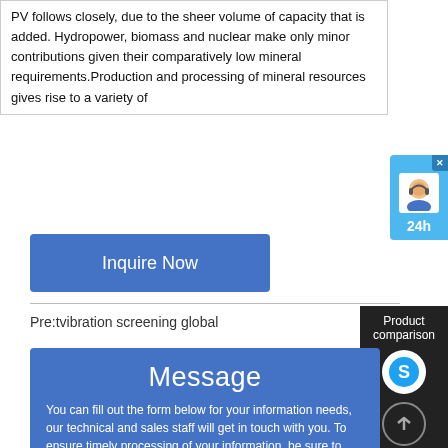PV follows closely, due to the sheer volume of capacity that is added. Hydropower, biomass and nuclear make only minor contributions given their comparatively low mineral requirements.Production and processing of mineral resources gives rise to a variety of
[Figure (screenshot): Blue 'Inquire Now' button]
[Figure (screenshot): Customer service chat widget with avatar and 24h label, light blue background]
Pre:tvibration screening global
[Figure (screenshot): Product comparison sidebar with Skype icon and up-arrow button on dark background]
Message

You can fill out the form below for your information needs, our technical and sales staff will get in touch with you. To ensure timely processing of your information, be sure to accurately fill out your contact phone!
* Products: Please select product